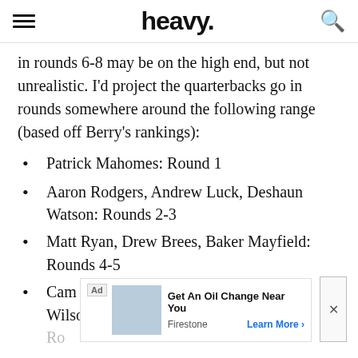heavy.
in rounds 6-8 may be on the high end, but not unrealistic. I'd project the quarterbacks go in rounds somewhere around the following range (based off Berry's rankings):
Patrick Mahomes: Round 1
Aaron Rodgers, Andrew Luck, Deshaun Watson: Rounds 2-3
Matt Ryan, Drew Brees, Baker Mayfield: Rounds 4-5
Cam Newton, Kyler Murray, Russell Wilson: Ro...
Russell Wilson, Jared Goff: Rounds 8-9